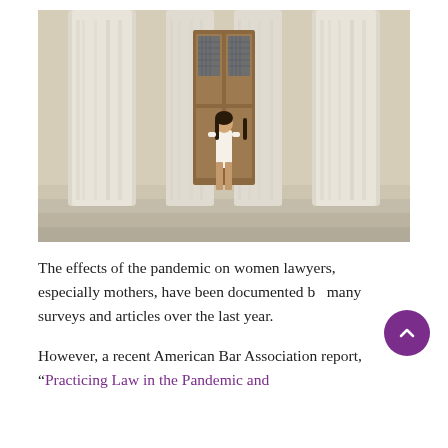[Figure (photo): A woman in a white top and tan shorts standing on the steps of a classical courthouse or government building with large white marble columns and a wooden door behind her.]
The effects of the pandemic on women lawyers, especially mothers, have been documented by many surveys and articles over the last year.
However, a recent American Bar Association report, “Practicing Law in the Pandemic and